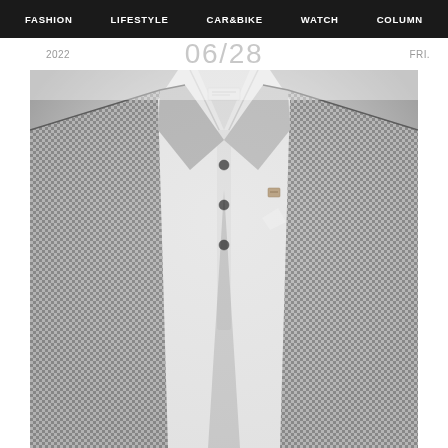FASHION  LIFESTYLE  CAR&BIKE  WATCH  COLUMN
2022  06/28  FRI.
[Figure (photo): Close-up product photo of a men's houndstooth/glen check blazer jacket in black and white, worn over a light grey polo shirt with buttons. The jacket has a notched lapel, a decorative pin/brooch on the left lapel, and shows fine check pattern fabric. The image is in grayscale/black and white style.]